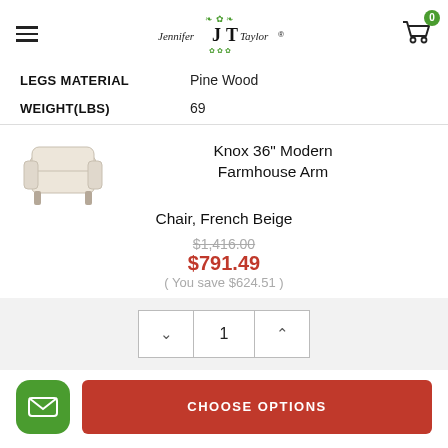Jennifer JT Taylor — Navigation header with hamburger menu and cart (0 items)
LEGS MATERIAL: Pine Wood
WEIGHT(LBS): 69
[Figure (photo): Product photo of Knox 36 inch Modern Farmhouse Arm Chair in French Beige]
Knox 36" Modern Farmhouse Arm Chair, French Beige
Original price: $1,416.00 | Sale price: $791.49 | You save $624.51
Quantity selector: decrease button, 1, increase button
CHOOSE OPTIONS